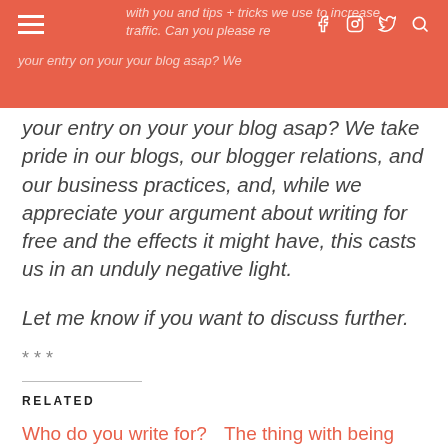with you and tips + tricks we use to increase traffic. Can you please remove your entry on your your blog asap? We take pride in our blogs, our blogger relations, and our business practices, and, while we appreciate your argument about writing for free and the effects it might have, this casts us in an unduly negative light.
your entry on your your blog asap? We take pride in our blogs, our blogger relations, and our business practices, and, while we appreciate your argument about writing for free and the effects it might have, this casts us in an unduly negative light.
Let me know if you want to discuss further.
***
RELATED
Who do you write for?
The thing with being called a